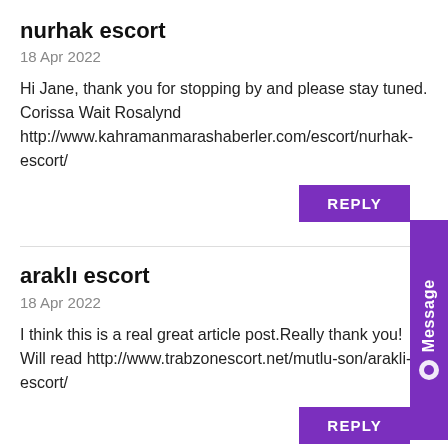nurhak escort
18 Apr 2022
Hi Jane, thank you for stopping by and please stay tuned. Corissa Wait Rosalynd http://www.kahramanmarashaberler.com/escort/nurhak-escort/
REPLY
araklı escort
18 Apr 2022
I think this is a real great article post.Really thank you! Will read http://www.trabzonescort.net/mutlu-son/arakli-escort/
REPLY
onikişubat escort
18 Apr 2022
I follow your nice sharing site from time to time, please please me